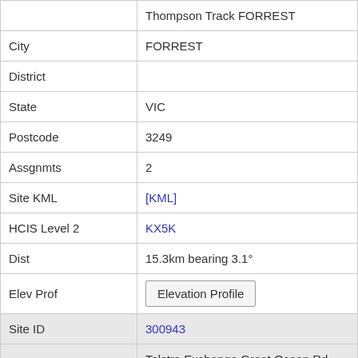| Field | Value |
| --- | --- |
|  | Thompson Track FORREST |
| City | FORREST |
| District |  |
| State | VIC |
| Postcode | 3249 |
| Assgnmts | 2 |
| Site KML | [KML] |
| HCIS Level 2 | KX5K |
| Dist | 15.3km bearing 3.1° |
| Elev Prof | Elevation Profile |
| Site ID | 300943 |
| Name | Telstra Exchange Great Ocean Rd WYE RIVER |
| City | WYE RIVER |
| District |  |
| State | VIC |
| Postcode | 3221 |
| Assgnmts | 60 |